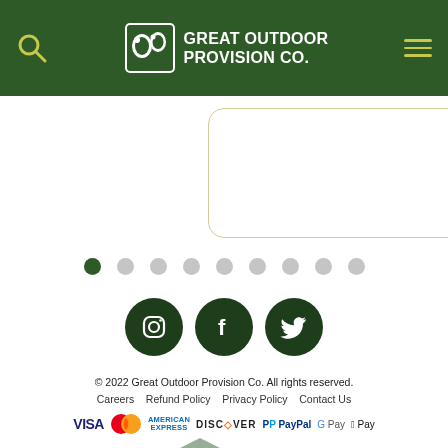Great Outdoor Provision Co.
[Figure (screenshot): Carousel of product/feature cards partially visible, showing white rounded-corner cards with gold border. Only the main card and a partial right card are visible.]
[Figure (other): Carousel navigation dots: 9 dots total, first dot is dark green (active), rest are gray.]
[Figure (other): Three social media icons (Instagram, Facebook, Twitter) as white icons on dark green circular backgrounds.]
© 2022 Great Outdoor Provision Co. All rights reserved. Careers   Refund Policy   Privacy Policy   Contact Us
[Figure (other): Payment method logos: VISA, Mastercard, American Express, DISCOVER, PayPal, Google Pay, Apple Pay]
[Figure (illustration): Partial mountain/landscape illustration in muted green at bottom-left corner of page.]